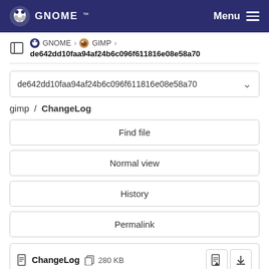GNOME — Menu
GNOME › GIMP › de642dd10faa94af24b6c096f611816e08e58a70
de642dd10faa94af24b6c096f611816e08e58a70
gimp / ChangeLog
Find file
Normal view
History
Permalink
ChangeLog  280 KB
Newer  Older